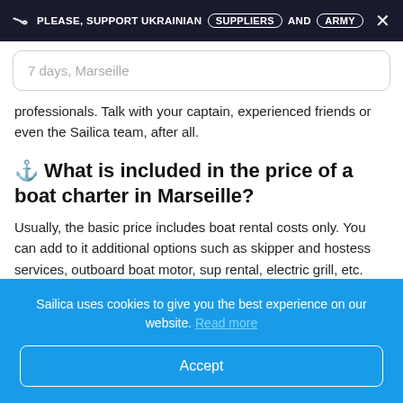PLEASE, SUPPORT UKRAINIAN SUPPLIERS AND ARMY
7 days, Marseille
professionals. Talk with your captain, experienced friends or even the Sailica team, after all.
⚓ What is included in the price of a boat charter in Marseille?
Usually, the basic price includes boat rental costs only. You can add to it additional options such as skipper and hostess services, outboard boat motor, sup rental, electric grill, etc.
Sailica uses cookies to give you the best experience on our website. Read more
Accept